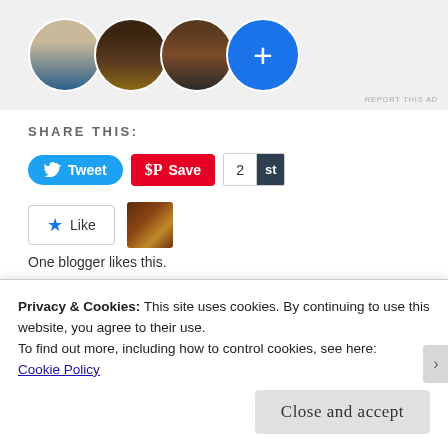[Figure (illustration): Social/ad banner with three circular avatar photos and a blue plus button circle]
REPORT THIS AD
SHARE THIS:
[Figure (screenshot): Twitter Tweet button (blue rounded), Pinterest Save button (red), count box showing 2 and 'st']
[Figure (screenshot): Like button with blue star and small avatar thumbnail]
One blogger likes this.
CATEGORIES  CAMPGROUND REVIEW, RV LIVING
Privacy & Cookies: This site uses cookies. By continuing to use this website, you agree to their use.
To find out more, including how to control cookies, see here: Cookie Policy
Close and accept